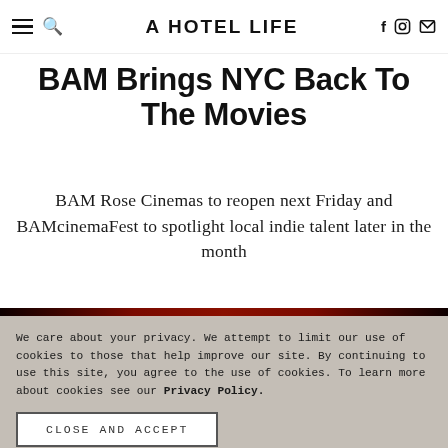A HOTEL LIFE
BAM Brings NYC Back To The Movies
BAM Rose Cinemas to reopen next Friday and BAMcinemaFest to spotlight local indie talent later in the month
We care about your privacy. We attempt to limit our use of cookies to those that help improve our site. By continuing to use this site, you agree to the use of cookies. To learn more about cookies see our Privacy Policy.
CLOSE AND ACCEPT